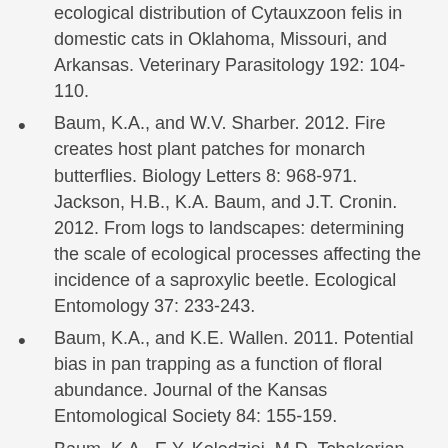ecological distribution of Cytauxzoon felis in domestic cats in Oklahoma, Missouri, and Arkansas. Veterinary Parasitology 192: 104-110.
Baum, K.A., and W.V. Sharber. 2012. Fire creates host plant patches for monarch butterflies. Biology Letters 8: 968-971. Jackson, H.B., K.A. Baum, and J.T. Cronin. 2012. From logs to landscapes: determining the scale of ecological processes affecting the incidence of a saproxylic beetle. Ecological Entomology 37: 233-243.
Baum, K.A., and K.E. Wallen. 2011. Potential bias in pan trapping as a function of floral abundance. Journal of the Kansas Entomological Society 84: 155-159.
Baum, K.A., E.Y. Kolodziej, M.D. Tchakerian,